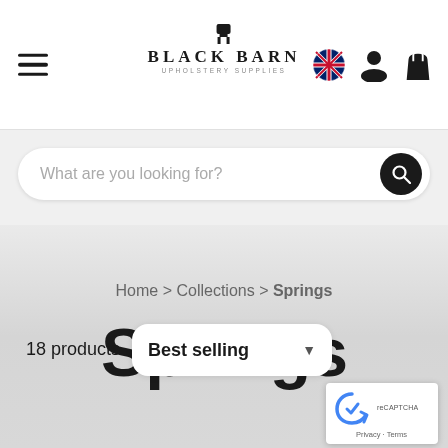BLACK BARN UPHOLSTERY SUPPLIES
What are you looking for?
Home > Collections > Springs
Springs
18 products
Best selling
[Figure (screenshot): reCAPTCHA badge with Privacy and Terms links]